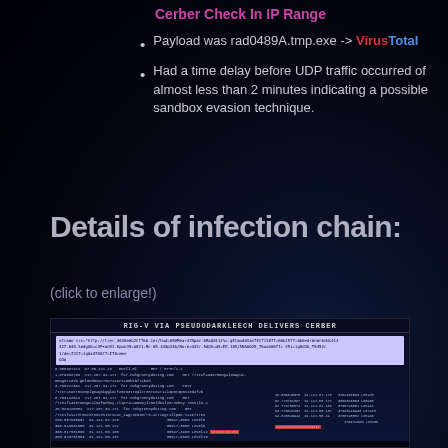Cerber Check In IP Range
Payload was rad0489A.tmp.exe -> VirusTotal
Had a time delay before UDP traffic occurred of almost less than 2 minutes indicating a possible sandbox evasion technique.
Details of infection chain:
(click to enlarge!)
[Figure (screenshot): Screenshot of network traffic capture titled 'RIG-V VIA PSEUDODARKLEECH DELIVERS CERBER' showing HTTP requests to far.nokgrannydating.com and DNS query rows with IP addresses 81.121.50.x and 91.121.57.x]